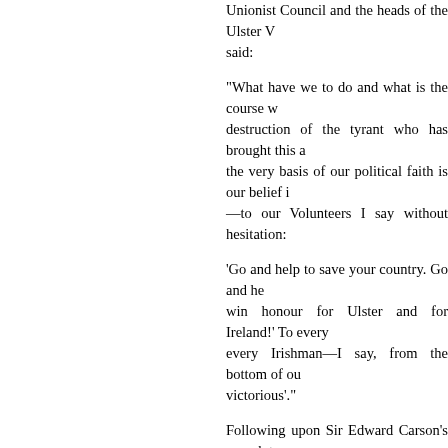Unionist Council and the heads of the Ulster Volunteer Force said:
"What have we to do and what is the course w... destruction of the tyrant who has brought this ... the very basis of our political faith is our belief i... —to our Volunteers I say without hesitation:
'Go and help to save your country. Go and he... win honour for Ulster and for Ireland!' To every ... every Irishman—I say, from the bottom of ou... victorious'."
Following upon Sir Edward Carson's speech t... Ulster Volunteer Force was put into motion. Th... which was formerly the "City Hall", Belfast, w... recruiting offices, and here for the next few wee... of about 600 a day, to join the various battalions...
The recruiting was conducted most systemati... various districts of the city. They assembled a... into military formation, and marched in a body ... witnessed by enthusiastic crowds of the citize... M.P., now Lieutenant-Colonel Sir James Craig,... show his appreciation of the magnificent respon...
Branch recruiting offices were also established... and districts, and here also the enrolling and ... fashion, so that by the middle of September ab... infantry contingent of a division, and according... Roll as the 36th (Ulster) Division, which after...